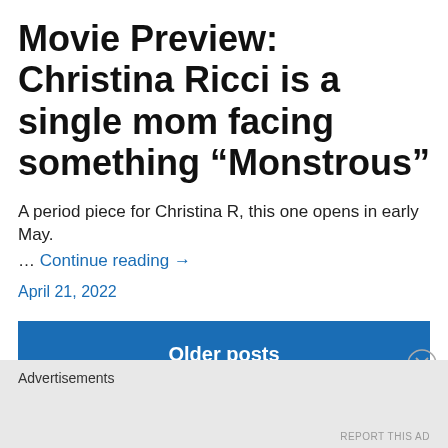Movie Preview: Christina Ricci is a single mom facing something “Monstrous”
A period piece for Christina R, this one opens in early May.
… Continue reading →
April 21, 2022
Older posts
View Full Site
Advertisements
REPORT THIS AD